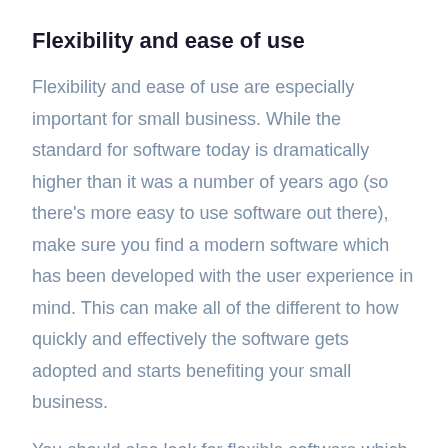Flexibility and ease of use
Flexibility and ease of use are especially important for small business. While the standard for software today is dramatically higher than it was a number of years ago (so there's more easy to use software out there), make sure you find a modern software which has been developed with the user experience in mind. This can make all of the different to how quickly and effectively the software gets adopted and starts benefiting your small business.
You should also look for flexible software which can adapt to the way you want to work. Some of the